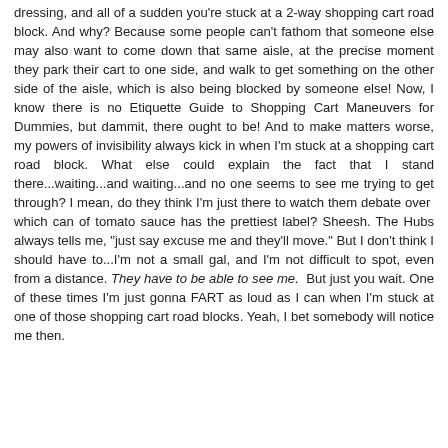dressing, and all of a sudden you're stuck at a 2-way shopping cart road block. And why? Because some people can't fathom that someone else may also want to come down that same aisle, at the precise moment they park their cart to one side, and walk to get something on the other side of the aisle, which is also being blocked by someone else! Now, I know there is no Etiquette Guide to Shopping Cart Maneuvers for Dummies, but dammit, there ought to be! And to make matters worse, my powers of invisibility always kick in when I'm stuck at a shopping cart road block. What else could explain the fact that I stand there...waiting...and waiting...and no one seems to see me trying to get through? I mean, do they think I'm just there to watch them debate over which can of tomato sauce has the prettiest label? Sheesh. The Hubs always tells me, "just say excuse me and they'll move." But I don't think I should have to...I'm not a small gal, and I'm not difficult to spot, even from a distance. They have to be able to see me.  But just you wait. One of these times I'm just gonna FART as loud as I can when I'm stuck at one of those shopping cart road blocks. Yeah, I bet somebody will notice me then.